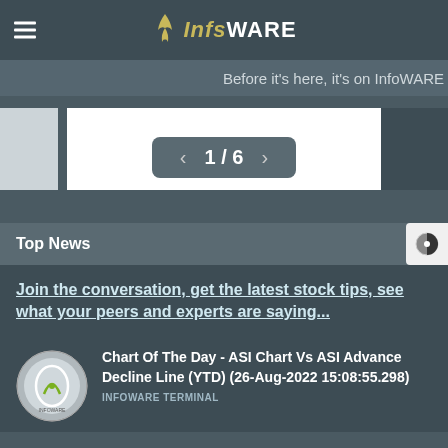InfoWARE
Before it's here, it's on InfoWARE
[Figure (screenshot): Pagination control showing 1/6 with left and right arrows inside a gray pill-shaped button]
Top News
Join the conversation, get the latest stock tips, see what your peers and experts are saying...
[Figure (photo): Circular logo/thumbnail for InfoWARE Terminal]
Chart Of The Day - ASI Chart Vs ASI Advance Decline Line (YTD) (26-Aug-2022 15:08:55.298)
INFOWARE TERMINAL